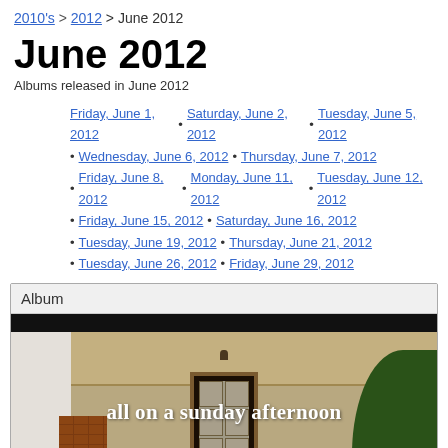2010's > 2012 > June 2012
June 2012
Albums released in June 2012
Friday, June 1, 2012 • Saturday, June 2, 2012 • Tuesday, June 5, 2012
Wednesday, June 6, 2012 • Thursday, June 7, 2012
Friday, June 8, 2012 • Monday, June 11, 2012 • Tuesday, June 12, 2012
Friday, June 15, 2012 • Saturday, June 16, 2012
Tuesday, June 19, 2012 • Thursday, June 21, 2012
Tuesday, June 26, 2012 • Friday, June 29, 2012
[Figure (photo): Album cover for 'all on a sunday afternoon' showing a porch scene with a door, brick column, and greenery]